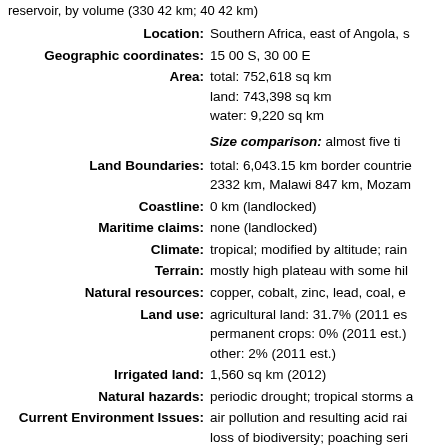reservoir, by volume (330 42 km; 40 42 km)
| Field | Value |
| --- | --- |
| Location: | Southern Africa, east of Angola, s... |
| Geographic coordinates: | 15 00 S, 30 00 E |
| Area: | total: 752,618 sq km
land: 743,398 sq km
water: 9,220 sq km |
| Size comparison: | almost five ti... |
| Land Boundaries: | total: 6,043.15 km border countrie... 2332 km, Malawi 847 km, Mozam... |
| Coastline: | 0 km (landlocked) |
| Maritime claims: | none (landlocked) |
| Climate: | tropical; modified by altitude; rain... |
| Terrain: | mostly high plateau with some hil... |
| Natural resources: | copper, cobalt, zinc, lead, coal, e... |
| Land use: | agricultural land: 31.7% (2011 es...
permanent crops: 0% (2011 est.)
other: 2% (2011 est.) |
| Irrigated land: | 1,560 sq km (2012) |
| Natural hazards: | periodic drought; tropical storms ... |
| Current Environment Issues: | air pollution and resulting acid rai...
loss of biodiversity; poaching seri...
deforestation; soil erosion; deser... |
| International Environment Agreements: | party to: Biodiversity, Climate Cha...
Hazardous Wastes, Law of the Se... |
|  | signed, but not ratified: none of th... |